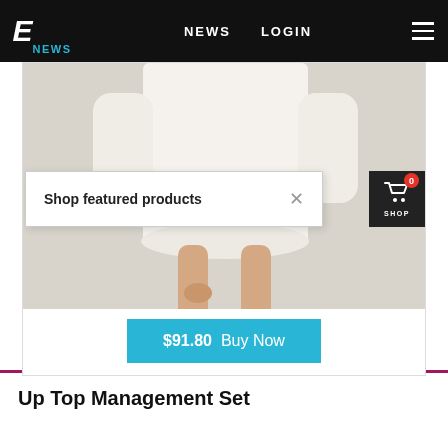E NEWS  NEWS  LOGIN
[Figure (photo): Woman wearing a white shirt dress, cropped showing lower body and legs on a light background]
Shop featured products
$91.80  Buy Now
Up Top Management Set